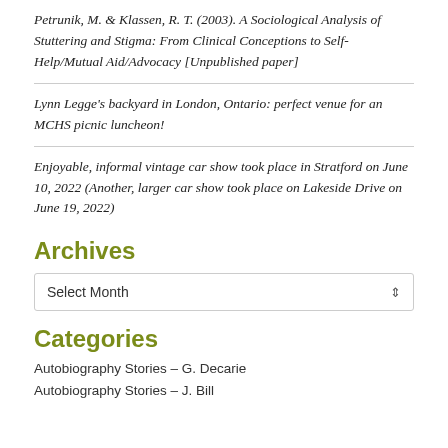Petrunik, M. & Klassen, R. T. (2003). A Sociological Analysis of Stuttering and Stigma: From Clinical Conceptions to Self-Help/Mutual Aid/Advocacy [Unpublished paper]
Lynn Legge's backyard in London, Ontario: perfect venue for an MCHS picnic luncheon!
Enjoyable, informal vintage car show took place in Stratford on June 10, 2022 (Another, larger car show took place on Lakeside Drive on June 19, 2022)
Archives
Select Month
Categories
Autobiography Stories – G. Decarie
Autobiography Stories – J. Bill